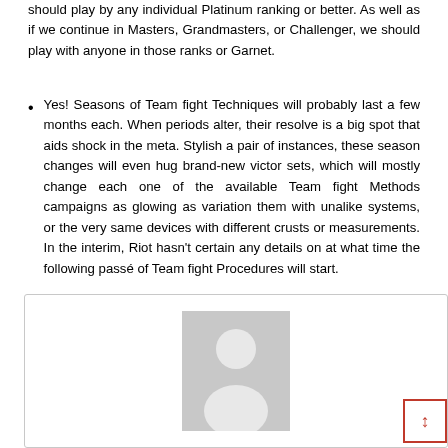should play by any individual Platinum ranking or better. As well as if we continue in Masters, Grandmasters, or Challenger, we should play with anyone in those ranks or Garnet.
Yes! Seasons of Team fight Techniques will probably last a few months each. When periods alter, their resolve is a big spot that aids shock in the meta. Stylish a pair of instances, these season changes will even hug brand-new victor sets, which will mostly change each one of the available Team fight Methods campaigns as glowing as variation them with unalike systems, or the very same devices with different crusts or measurements. In the interim, Riot hasn't certain any details on at what time the following passé of Team fight Procedures will start.
[Figure (illustration): A placeholder avatar image showing a generic person silhouette in gray, inside a bordered card.]